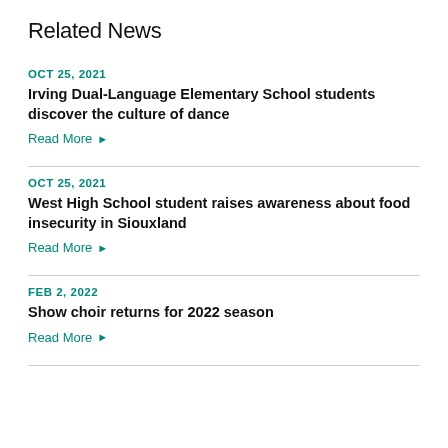Related News
OCT 25, 2021
Irving Dual-Language Elementary School students discover the culture of dance
Read More ▶
OCT 25, 2021
West High School student raises awareness about food insecurity in Siouxland
Read More ▶
FEB 2, 2022
Show choir returns for 2022 season
Read More ▶